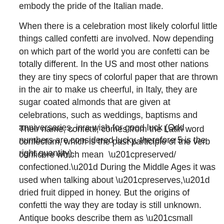embody the pride of the Italian made.
When there is a celebration most likely colorful little things called confetti are involved. Now depending on which part of the world you are confetti can be totally different. In the US and most other nations they are tiny specs of colorful paper that are thrown in the air to make us cheerful, in Italy, they are sugar coated almonds that are given at celebrations, such as weddings, baptisms and anniversaries, in a wish for good luck (Odd numbers are considered lucky, therefore 5 is the right quantity).
Their name, confetti, comes from the Latin word confectum, which is the past participle of the verb conficere which mean “preserved/ confectioned.” During the Middle Ages it was used when talking about “preserves,” dried fruit dipped in honey. But the origins of confetti the way they are today is still unknown. Antique books describe them as “small sweets made of cooked sugar that hide a tender almond, hazelnut or pistachio heart. They come in two different forms: soft or hard. Traditionally the hard ones feature a peeled toasted almond while the soft ones are filled with almond paste, candied fruit or chocolate. There are many variations and even really tiny confetti that cover anise or fennel seeds that are used to decorate cakes and/or regional holiday